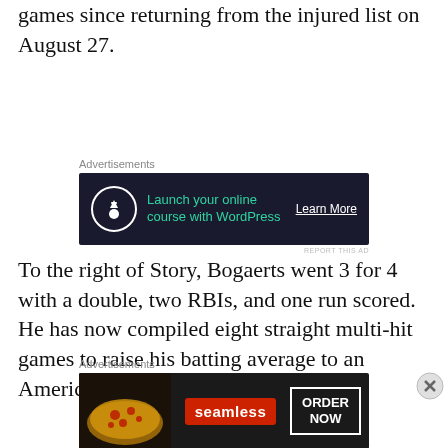games since returning from the injured list on August 27.
[Figure (other): Advertisement banner: dark background, WordPress online course ad with 'Launch your online course with WordPress' text and 'Learn More' button]
To the right of Story, Bogaerts went 3 for 4 with a double, two RBIs, and one run scored. He has now compiled eight straight multi-hit games to raise his batting average to an American League-leading .317.
[Figure (other): Advertisement banner: Seamless food delivery ad with pizza image, Seamless logo, and 'ORDER NOW' button]